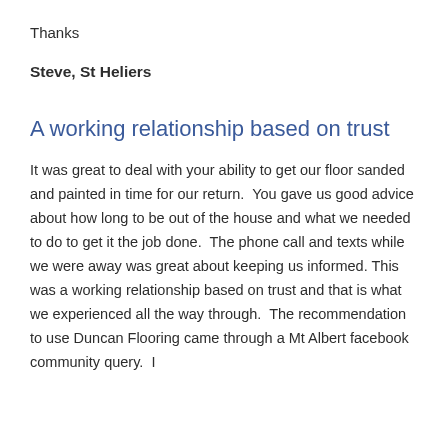Thanks
Steve, St Heliers
A working relationship based on trust
It was great to deal with your ability to get our floor sanded and painted in time for our return.  You gave us good advice about how long to be out of the house and what we needed to do to get it the job done.  The phone call and texts while we were away was great about keeping us informed. This was a working relationship based on trust and that is what we experienced all the way through.  The recommendation to use Duncan Flooring came through a Mt Albert facebook community query.  I